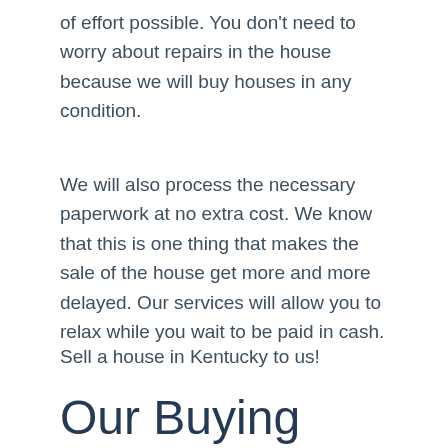of effort possible. You don't need to worry about repairs in the house because we will buy houses in any condition.
We will also process the necessary paperwork at no extra cost. We know that this is one thing that makes the sale of the house get more and more delayed. Our services will allow you to relax while you wait to be paid in cash.
Sell a house in Kentucky to us!
Our Buying Process